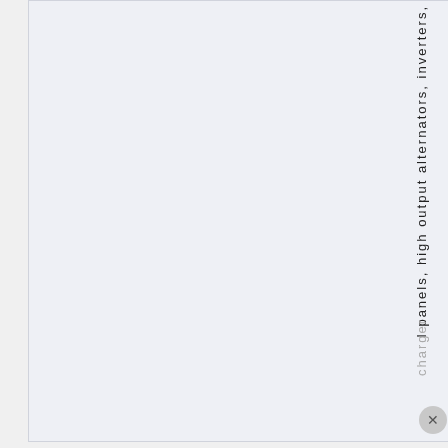I panels, high output alternators, inverters, charger